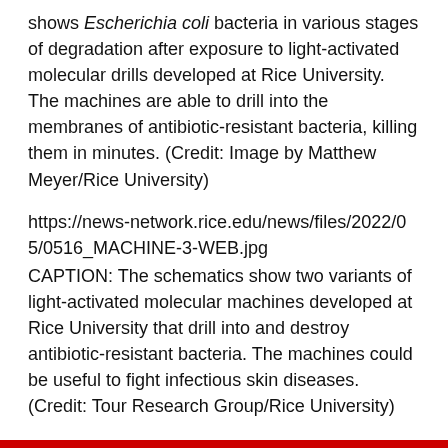shows Escherichia coli bacteria in various stages of degradation after exposure to light-activated molecular drills developed at Rice University. The machines are able to drill into the membranes of antibiotic-resistant bacteria, killing them in minutes. (Credit: Image by Matthew Meyer/Rice University)
https://news-network.rice.edu/news/files/2022/05/0516_MACHINE-3-WEB.jpg
CAPTION: The schematics show two variants of light-activated molecular machines developed at Rice University that drill into and destroy antibiotic-resistant bacteria. The machines could be useful to fight infectious skin diseases. (Credit: Tour Research Group/Rice University)
Related materials and stories: